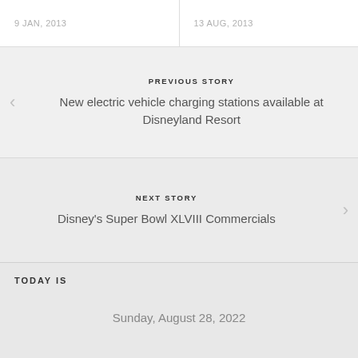9 JAN, 2013
13 AUG, 2013
PREVIOUS STORY
New electric vehicle charging stations available at Disneyland Resort
NEXT STORY
Disney's Super Bowl XLVIII Commercials
TODAY IS
Sunday, August 28, 2022